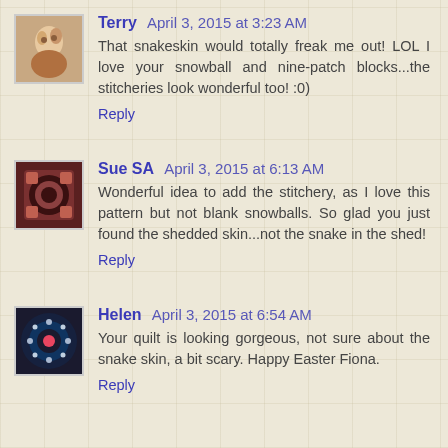Terry  April 3, 2015 at 3:23 AM
That snakeskin would totally freak me out! LOL I love your snowball and nine-patch blocks...the stitcheries look wonderful too! :0)
Reply
Sue SA  April 3, 2015 at 6:13 AM
Wonderful idea to add the stitchery, as I love this pattern but not blank snowballs. So glad you just found the shedded skin...not the snake in the shed!
Reply
Helen  April 3, 2015 at 6:54 AM
Your quilt is looking gorgeous, not sure about the snake skin, a bit scary. Happy Easter Fiona.
Reply